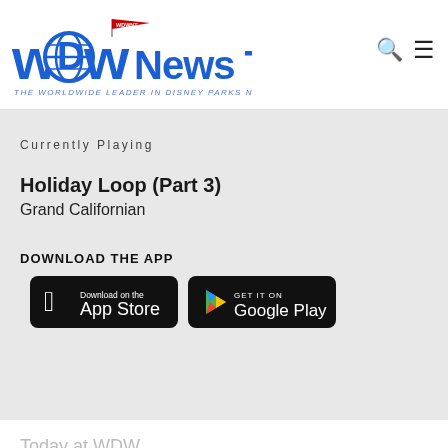[Figure (logo): WDW News Today logo — blue stylized text with globe icon and WDWNT flag, tagline: THE WORLDWIDE LEADER IN DISNEY PARKS NEWS]
Currently Playing
Holiday Loop (Part 3)
Grand Californian
DOWNLOAD THE APP
[Figure (screenshot): Download on the App Store button (black rounded rectangle, Apple logo)]
[Figure (screenshot): GET IT ON Google Play button (black rounded rectangle, colorful triangle logo)]
Today at WDW